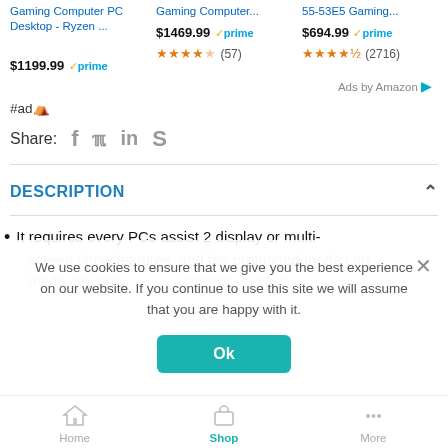Gaming Computer PC Desktop - Ryzen ...
$1199.99 ✓prime
Gaming Computer... $1469.99 ✓prime ★★★★☆ (57)
55-53E5 Gaming... $694.99 ✓prime ★★★★½ (2716)
Ads by Amazon ▷
#ad🔲
Share: f  𝕡  in  𝕤
DESCRIPTION
It requires every PCs assist 2 display or multi-
screen show features, and the prolonged mode can
We use cookies to ensure that we give you the best experience on our website. If you continue to use this site we will assume that you are happy with it.
Ok
Home   Shop   More